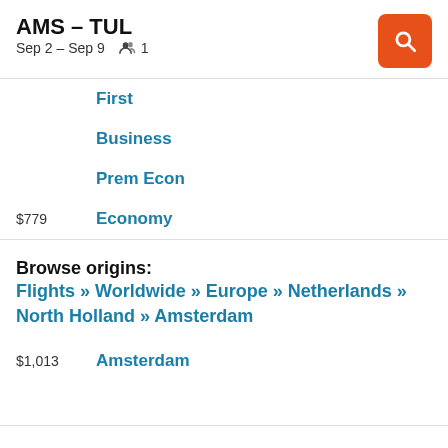AMS – TUL
Sep 2 – Sep 9   👥 1
First
Business
Prem Econ
$779   Economy
Browse origins:
Flights » Worldwide » Europe » Netherlands » North Holland » Amsterdam
$1,013   Amsterdam